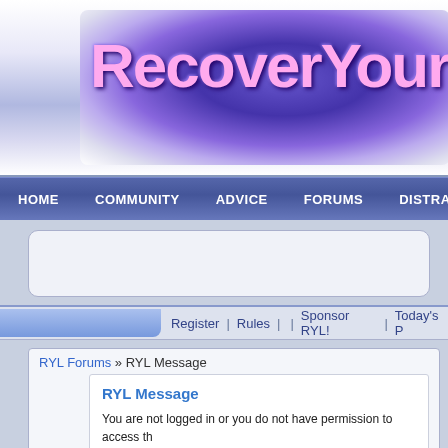[Figure (screenshot): RecoverYourLife website banner with stylized handwritten text on a purple/blue gradient background]
HOME  COMMUNITY  ADVICE  FORUMS  DISTRACTIO
[Figure (screenshot): Navigation tab bar with Register | Rules | | Sponsor RYL! | Today's P links]
RYL Forums » RYL Message
RYL Message
You are not logged in or you do not have permission to access this page, due to one of several reasons:
You are not logged in. Fill in the form at the bottom of this page.
You may not have sufficient privileges to access this part of the site. Are you trying to edit someone else's post, access administrative features or some other privileged system?
If you are trying to post, the administrator may have disabled your account, or it may be awaiting activation.